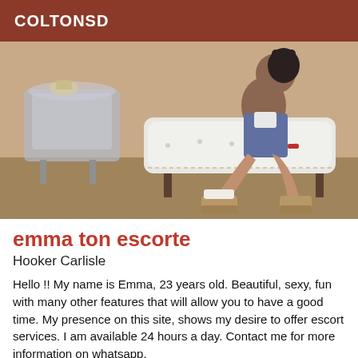COLTONSD
[Figure (photo): A young woman sitting on a white tufted bench/sofa in a room with wood flooring and a mirrored side table, wearing denim overalls and platform sneakers.]
emma ton escorte
Hooker Carlisle
Hello !! My name is Emma, 23 years old. Beautiful, sexy, fun with many other features that will allow you to have a good time. My presence on this site, shows my desire to offer escort services. I am available 24 hours a day. Contact me for more information on whatsapp.